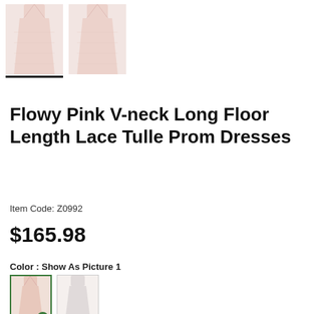[Figure (photo): Two thumbnail images of a flowy pink prom dress on hangers, first one with underline indicator]
Flowy Pink V-neck Long Floor Length Lace Tulle Prom Dresses
Item Code: Z0992
$165.98
Color : Show As Picture 1
[Figure (photo): Color swatch options: pink dress (selected with green border and checkmark), white/cream dress, and color buttons: black, navy, red, royal blue, light blue, champagne, ivory, white, light pink]